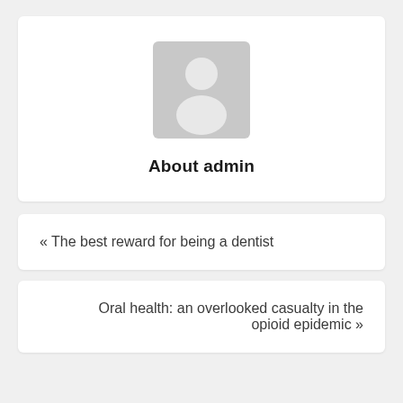[Figure (illustration): Generic user avatar placeholder icon — grey rounded square with white silhouette of a person]
About admin
« The best reward for being a dentist
Oral health: an overlooked casualty in the opioid epidemic »